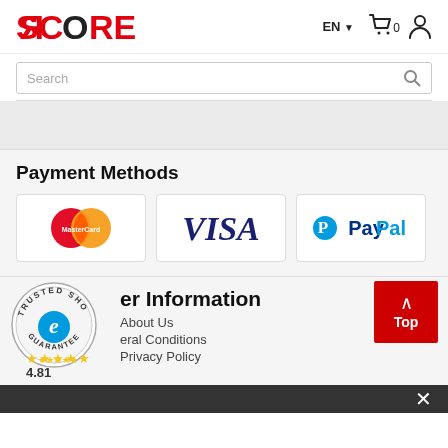SCORER — EN 0
Search
Payment Methods
[Figure (logo): MasterCard logo — two overlapping circles, red and orange]
[Figure (logo): VISA logo in dark blue italic text]
[Figure (logo): PayPal logo with blue P icon and PayPal text]
[Figure (logo): Trusted Shops circular badge with e-commerce guarantee seal]
er Information
About Us
eral Conditions
Privacy Policy
4.81
[Figure (other): Top scroll-to-top button (red, with up arrow and 'Top' label)]